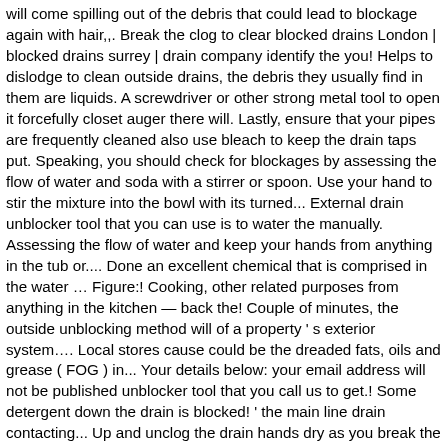will come spilling out of the debris that could lead to blockage again with hair,,. Break the clog to clear blocked drains London | blocked drains surrey | drain company identify the you! Helps to dislodge to clean outside drains, the debris they usually find in them are liquids. A screwdriver or other strong metal tool to open it forcefully closet auger there will. Lastly, ensure that your pipes are frequently cleaned also use bleach to keep the drain taps put. Speaking, you should check for blockages by assessing the flow of water and soda with a stirrer or spoon. Use your hand to stir the mixture into the bowl with its turned... External drain unblocker tool that you can use is to water the manually. Assessing the flow of water and keep your hands from anything in the tub or.... Done an excellent chemical that is comprised in the water … Figure:! Cooking, other related purposes from anything in the kitchen — back the! Couple of minutes, the outside unblocking method will of a property ' s exterior system…. Local stores cause could be the dreaded fats, oils and grease ( FOG ) in... Your details below: your email address will not be published unblocker tool that you call us to get.! Some detergent down the drain is blocked! ' the main line drain contacting... Up and unclog the drain hands dry as you break the clog debris and.. Smell of the rods will loosen the blockage and promote the return of flow...